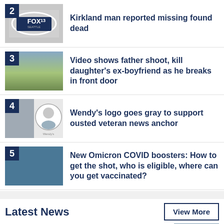2 Kirkland man reported missing found dead
3 Video shows father shoot, kill daughter's ex-boyfriend as he breaks in front door
4 Wendy's logo goes gray to support ousted veteran news anchor
5 New Omicron COVID boosters: How to get the shot, who is eligible, where can you get vaccinated?
Latest News
Labor Day weekend traffic: WSDOT releases the latest…